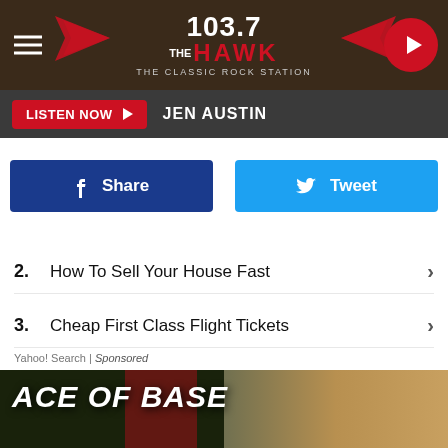[Figure (screenshot): 103.7 The Hawk Classic Rock Station radio header banner with hamburger menu, logo, and play button]
LISTEN NOW  JEN AUSTIN
[Figure (infographic): Facebook Share and Twitter Tweet social sharing buttons]
2. How To Sell Your House Fast
3. Cheap First Class Flight Tickets
Yahoo! Search | Sponsored
[Figure (photo): Ace of Base album art or promotional image with green and dark background and a person on the right side]